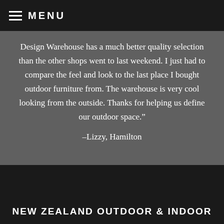MENU
Design Warehouse has a much better quality selection than the other shops went to last weekend. I just had to compare the feel and look to the last place I bought outdoor furniture from. The warehouse is very cool looking from the outside. Thanks for helping us define our outdoor space.”
–Lizzy, Hamilton
NEW ZEALAND OUTDOOR & INDOOR